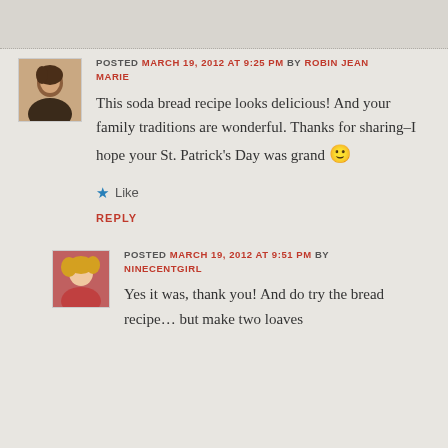POSTED MARCH 19, 2012 AT 9:25 PM BY ROBIN JEAN MARIE
This soda bread recipe looks delicious! And your family traditions are wonderful. Thanks for sharing–I hope your St. Patrick's Day was grand 🙂
Like
REPLY
POSTED MARCH 19, 2012 AT 9:51 PM BY NINECENTGIRL
Yes it was, thank you! And do try the bread recipe… but make two loaves